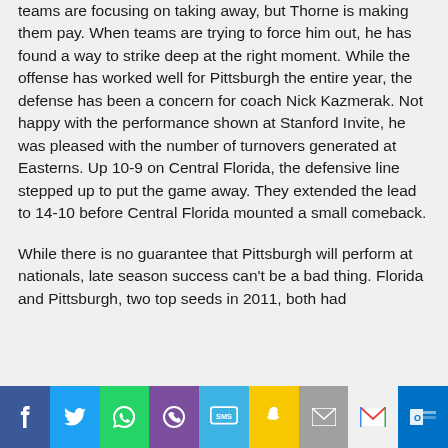teams are focusing on taking away, but Thorne is making them pay. When teams are trying to force him out, he has found a way to strike deep at the right moment. While the offense has worked well for Pittsburgh the entire year, the defense has been a concern for coach Nick Kazmerak. Not happy with the performance shown at Stanford Invite, he was pleased with the number of turnovers generated at Easterns. Up 10-9 on Central Florida, the defensive line stepped up to put the game away. They extended the lead to 14-10 before Central Florida mounted a small comeback.
While there is no guarantee that Pittsburgh will perform at nationals, late season success can't be a bad thing. Florida and Pittsburgh, two top seeds in 2011, both had